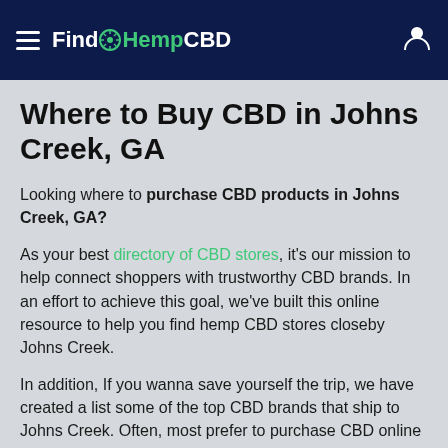FindHempCBD
Where to Buy CBD in Johns Creek, GA
Looking where to purchase CBD products in Johns Creek, GA?
As your best directory of CBD stores, it's our mission to help connect shoppers with trustworthy CBD brands. In an effort to achieve this goal, we've built this online resource to help you find hemp CBD stores closeby Johns Creek.
In addition, If you wanna save yourself the trip, we have created a list some of the top CBD brands that ship to Johns Creek. Often, most prefer to purchase CBD online for the prices and convenience.
Whatever works best for you, we is here to help you along the way.